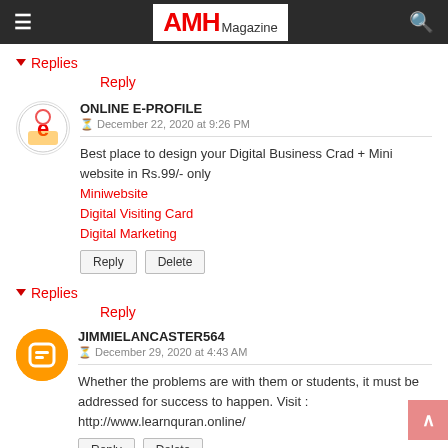AMH Magazine
▼ Replies
Reply
ONLINE E-PROFILE
December 22, 2020 at 9:26 PM
Best place to design your Digital Business Crad + Mini website in Rs.99/- only
Miniwebsite
Digital Visiting Card
Digital Marketing
Reply   Delete
▼ Replies
Reply
JIMMIELANCASTER564
December 29, 2020 at 4:43 AM
Whether the problems are with them or students, it must be addressed for success to happen. Visit : http://www.learnquran.online/
Reply   Delete